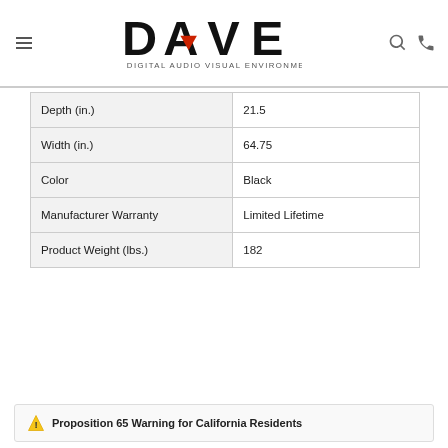[Figure (logo): DAVE Digital Audio Visual Environments logo with red triangle]
| Depth (in.) | 21.5 |
| Width (in.) | 64.75 |
| Color | Black |
| Manufacturer Warranty | Limited Lifetime |
| Product Weight (lbs.) | 182 |
⚠ Proposition 65 Warning for California Residents